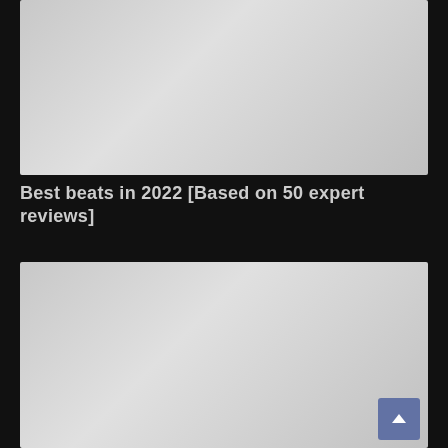[Figure (photo): Light gray placeholder image at the top of the page]
Best beats in 2022 [Based on 50 expert reviews]
[Figure (photo): Light gray placeholder image at the bottom of the page]